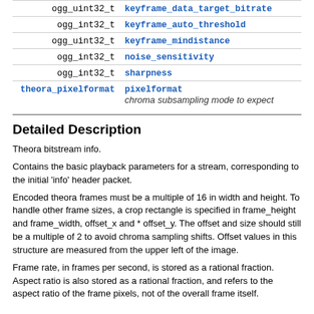| Type | Field |
| --- | --- |
| ogg_uint32_t | keyframe_data_target_bitrate |
| ogg_int32_t | keyframe_auto_threshold |
| ogg_uint32_t | keyframe_mindistance |
| ogg_int32_t | noise_sensitivity |
| ogg_int32_t | sharpness |
| theora_pixelformat | pixelformat
chroma subsampling mode to expect |
Detailed Description
Theora bitstream info.
Contains the basic playback parameters for a stream, corresponding to the initial 'info' header packet.
Encoded theora frames must be a multiple of 16 in width and height. To handle other frame sizes, a crop rectangle is specified in frame_height and frame_width, offset_x and * offset_y. The offset and size should still be a multiple of 2 to avoid chroma sampling shifts. Offset values in this structure are measured from the upper left of the image.
Frame rate, in frames per second, is stored as a rational fraction. Aspect ratio is also stored as a rational fraction, and refers to the aspect ratio of the frame pixels, not of the overall frame itself.